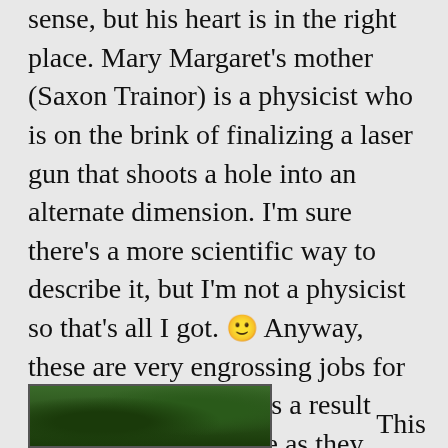sense, but his heart is in the right place. Mary Margaret's mother (Saxon Trainor) is a physicist who is on the brink of finalizing a laser gun that shoots a hole into an alternate dimension. I'm sure there's a more scientific way to describe it, but I'm not a physicist so that's all I got. 🙂 Anyway, these are very engrossing jobs for parents to have, and as a result they aren't as attentive as they should be with Mary Margaret. So when her great-grandmother's mirror is bestowed on Mary Margaret, of course her ambitious idle hands will find a way to use it as a portal into another world.
[Figure (photo): Partial image visible at bottom left of the page, showing a dark green outdoor/nature scene.]
This